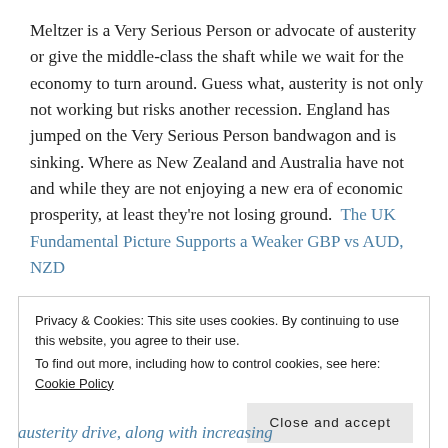Meltzer is a Very Serious Person or advocate of austerity or give the middle-class the shaft while we wait for the economy to turn around. Guess what, austerity is not only not working but risks another recession. England has jumped on the Very Serious Person bandwagon and is sinking. Where as New Zealand and Australia have not and while they are not enjoying a new era of economic prosperity, at least they're not losing ground.  The UK Fundamental Picture Supports a Weaker GBP vs AUD, NZD
Privacy & Cookies: This site uses cookies. By continuing to use this website, you agree to their use.
To find out more, including how to control cookies, see here: Cookie Policy
Close and accept
austerity drive, along with increasing